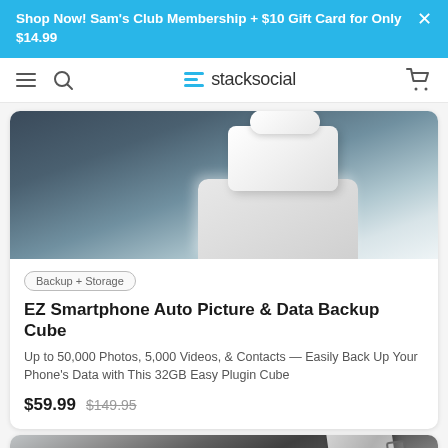Shop Now! Sam's Club Membership + $10 Gift Card for Only $14.99
stacksocial
[Figure (photo): Product image of EZ Smartphone Auto Picture & Data Backup Cube — white cube-shaped device on dark background]
Backup + Storage
EZ Smartphone Auto Picture & Data Backup Cube
Up to 50,000 Photos, 5,000 Videos, & Contacts — Easily Back Up Your Phone's Data with This 32GB Easy Plugin Cube
$59.99  $149.95
[Figure (photo): Partial product image of a smartphone shown from above at an angle on a dark surface]